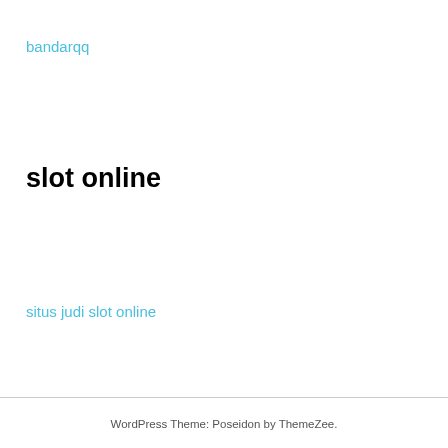bandarqq
slot online
situs judi slot online
WordPress Theme: Poseidon by ThemeZee.